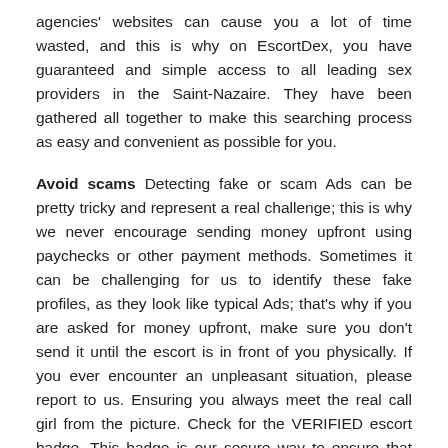agencies' websites can cause you a lot of time wasted, and this is why on EscortDex, you have guaranteed and simple access to all leading sex providers in the Saint-Nazaire. They have been gathered all together to make this searching process as easy and convenient as possible for you.
Avoid scams Detecting fake or scam Ads can be pretty tricky and represent a real challenge; this is why we never encourage sending money upfront using paychecks or other payment methods. Sometimes it can be challenging for us to identify these fake profiles, as they look like typical Ads; that's why if you are asked for money upfront, make sure you don't send it until the escort is in front of you physically. If you ever encounter an unpleasant situation, please report to us. Ensuring you always meet the real call girl from the picture. Check for the VERIFIED escort badge. This badge is our secure way to ensure that the girl you booked is the girl you meet. The photos submitted are verified by our team and comply